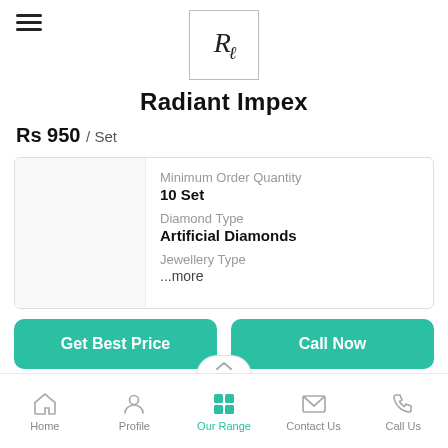[Figure (logo): Radiant Impex logo: stylized RI monogram in serif italic font inside a square border]
Radiant Impex
Rs 950 / Set
Minimum Order Quantity
10 Set
Diamond Type
Artificial Diamonds
Jewellery Type
...more
Get Best Price
Call Now
Home   Profile   Our Range   Contact Us   Call Us